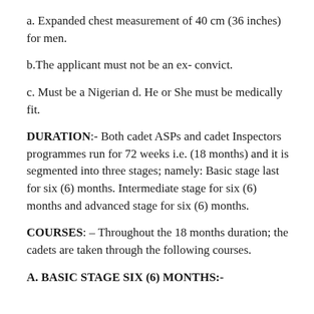a. Expanded chest measurement of 40 cm (36 inches) for men.
b. The applicant must not be an ex- convict.
c. Must be a Nigerian d. He or She must be medically fit.
DURATION:- Both cadet ASPs and cadet Inspectors programmes run for 72 weeks i.e. (18 months) and it is segmented into three stages; namely: Basic stage last for six (6) months. Intermediate stage for six (6) months and advanced stage for six (6) months.
COURSES: – Throughout the 18 months duration; the cadets are taken through the following courses.
A. BASIC STAGE SIX (6) MONTHS:-